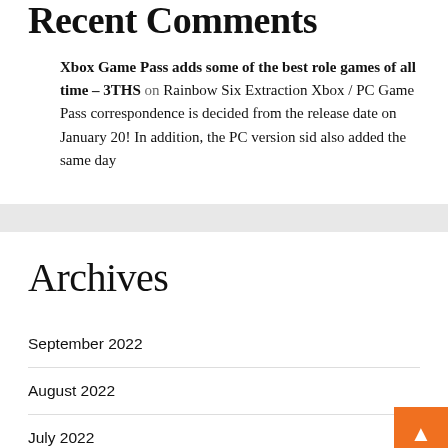Recent Comments
Xbox Game Pass adds some of the best role games of all time – 3THS on Rainbow Six Extraction Xbox / PC Game Pass correspondence is decided from the release date on January 20! In addition, the PC version sid also added the same day
Archives
September 2022
August 2022
July 2022